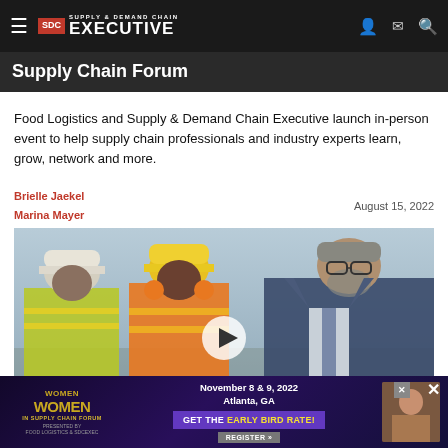Supply & Demand Chain Executive
Supply Chain Forum
Food Logistics and Supply & Demand Chain Executive launch in-person event to help supply chain professionals and industry experts learn, grow, network and more.
Brielle Jaekel
Marina Mayer
August 15, 2022
[Figure (photo): Three supply chain professionals - two workers wearing hard hats and high-visibility gear, and one business executive in a suit, looking at documents together outdoors. A video play button is overlaid on the image.]
[Figure (infographic): Advertisement banner: Women in Supply Chain Forum, November 8 & 9, 2022, Atlanta, GA. Get the Early Bird Rate! Register button.]